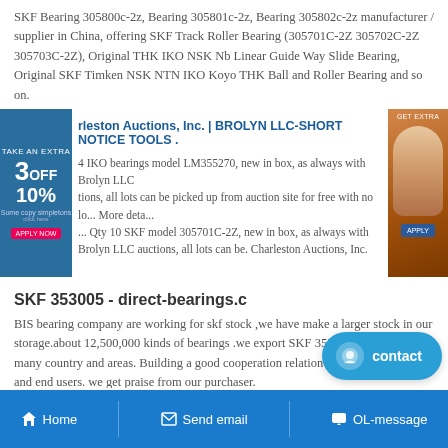SKF Bearing 305800c-2z, Bearing 305801c-2z, Bearing 305802c-2z manufacturer / supplier in China, offering SKF Track Roller Bearing (305701C-2Z 305702C-2Z 305703C-2Z), Original THK IKO NSK Nb Linear Guide Way Slide Bearing, Original SKF Timken NSK NTN IKO Koyo THK Ball and Roller Bearing and so on.
[Figure (screenshot): Advertisement banner with blue left panel showing '3 OFF 10%', center text 'Charleston Auctions, Inc. | BROLYN LLC-SHORT NOTICE TOOLS .' and bearing description, right panel with woman photo on orange background]
SKF 353005 - direct-bearings.c
BIS bearing company are working for skf stock ,we have make a larger stock in our storage.about 12,500,000 kinds of bearings .we export SKF 353005 bearings to many country and areas. Building a good cooperation relation with many supplier and end users. we get praise from our purchaser.
NATV12 SKF bearing - Quick quote, Adequate stocks N...
[Figure (screenshot): Blue contact button with smiley face icon and 'contact' text]
Home   Send email   OL-message